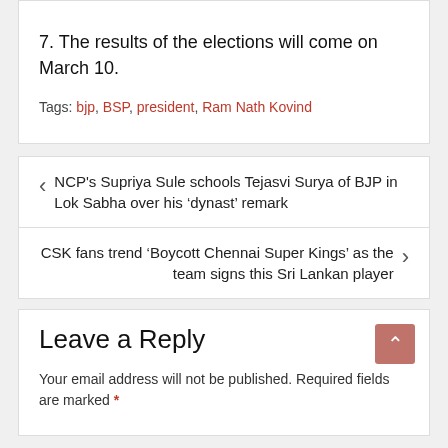7. The results of the elections will come on March 10.
Tags: bjp, BSP, president, Ram Nath Kovind
NCP's Supriya Sule schools Tejasvi Surya of BJP in Lok Sabha over his 'dynast' remark
CSK fans trend 'Boycott Chennai Super Kings' as the team signs this Sri Lankan player
Leave a Reply
Your email address will not be published. Required fields are marked *